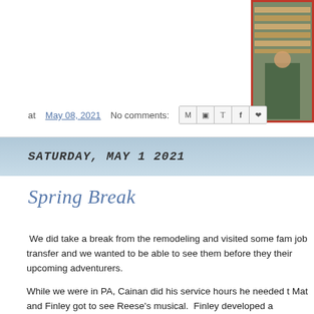[Figure (photo): Partial photo visible in top-right corner showing a person with lumber/materials, with a red-bordered frame]
at May 08, 2021   No comments:
[Figure (infographic): Share icons row: Email (M), Blogger (B), Twitter (bird), Facebook (f), Pinterest (P)]
SATURDAY, MAY 1 2021
Spring Break
We did take a break from the remodeling and visited some fam job transfer and we wanted to be able to see them before they their upcoming adventurers.
While we were in PA, Cainan did his service hours he needed t Mat and Finley got to see Reese's musical.  Finley developed a